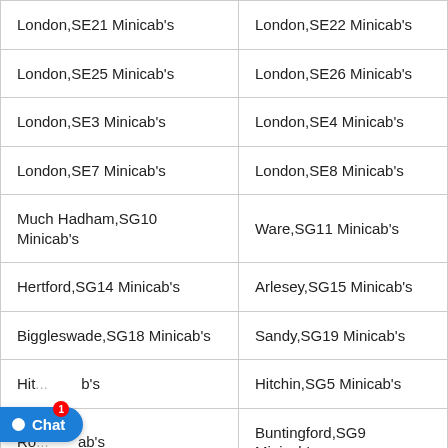| London,SE21 Minicab's | London,SE22 Minicab's |
| London,SE25 Minicab's | London,SE26 Minicab's |
| London,SE3 Minicab's | London,SE4 Minicab's |
| London,SE7 Minicab's | London,SE8 Minicab's |
| Much Hadham,SG10 Minicab's | Ware,SG11 Minicab's |
| Hertford,SG14 Minicab's | Arlesey,SG15 Minicab's |
| Biggleswade,SG18 Minicab's | Sandy,SG19 Minicab's |
| Hit[...],SG[..] Minicab's | Hitchin,SG5 Minicab's |
| Ro[...] Minicab's | Buntingford,SG9 Minicab's |
| Ma[...] Minicab's | Stockport,SK12 Minicab's |
| Sta[...] Minicab's | Dukinfield,SK16 Minicab's |
| [...]ak,SK22 Minicab's | High Peak,SK23 Minicab's |
[Figure (screenshot): Chat popup overlay with message: 'Hello there! Good Day! We have Hidden offers on most of our routes, interested to know what lies on...' with Type input area and icons]
Chat (button with notification badge 1)